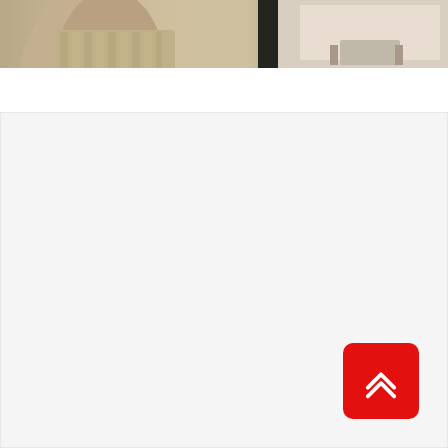[Figure (photo): Partial view of a person wearing a light beige/khaki gathered skirt near a dark door column, with a bright interior background visible on the right side. The image is cropped at the top of the page.]
[Figure (other): Large light grey/white empty content area below the photo, likely a webpage scroll area. A red rounded square button with a double chevron/arrow up icon is positioned in the bottom-right corner, serving as a scroll-to-top navigation button.]